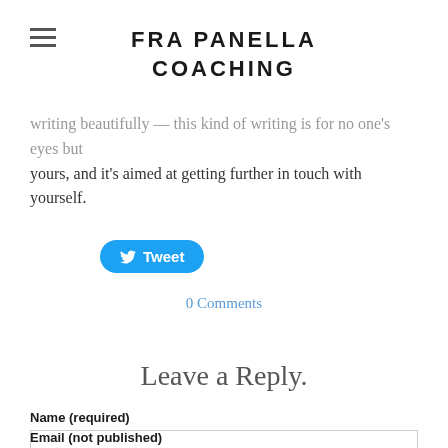FRA PANELLA COACHING
writing beautifully — this kind of writing is for no one's eyes but yours, and it's aimed at getting further in touch with yourself.
[Figure (other): Twitter Tweet button — blue pill-shaped button with bird icon and 'Tweet' label]
0 Comments
Leave a Reply.
Name (required)
Email (not published)